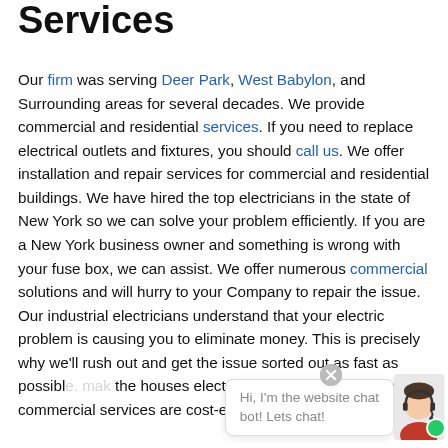Services
Our firm was serving Deer Park, West Babylon, and Surrounding areas for several decades. We provide commercial and residential services. If you need to replace electrical outlets and fixtures, you should call us. We offer installation and repair services for commercial and residential buildings. We have hired the top electricians in the state of New York so we can solve your problem efficiently. If you are a New York business owner and something is wrong with your fuse box, we can assist. We offer numerous commercial solutions and will hurry to your Company to repair the issue. Our industrial electricians understand that your electric problem is causing you to eliminate money. This is precisely why we'll rush out and get the issue sorted out as fast as possible. [chat overlay] the houses electr[ical systems are checked and] commercial services are cost-effective and dependable.